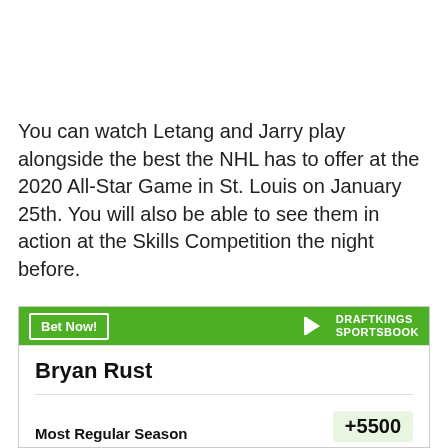You can watch Letang and Jarry play alongside the best the NHL has to offer at the 2020 All-Star Game in St. Louis on January 25th. You will also be able to see them in action at the Skills Competition the night before.
[Figure (other): DraftKings Sportsbook betting widget showing Bryan Rust with a 'Bet Now!' button and the DraftKings Sportsbook logo. Below shows 'Most Regular Season' with a partially visible value starting with +5500.]